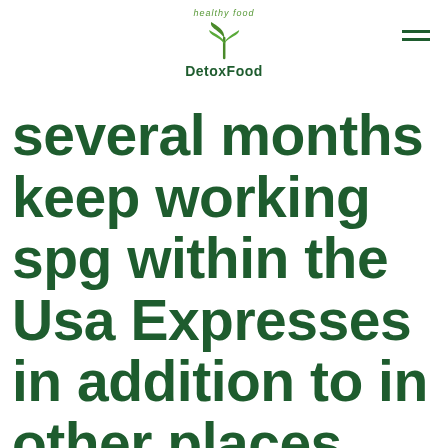DetoxFood
several months keep working spg within the Usa Expresses in addition to in other places since COVID-19 busy specialized medical health